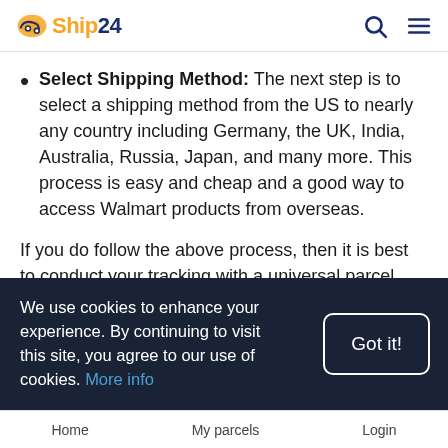Ship24
Select Shipping Method: The next step is to select a shipping method from the US to nearly any country including Germany, the UK, India, Australia, Russia, Japan, and many more. This process is easy and cheap and a good way to access Walmart products from overseas.
If you do follow the above process, then it is best to conduct your tracking with a universal parcel tracking website, in light of the fact that multiple carriers will be responsible for forwarding your parcel. Ship24 scans
We use cookies to enhance your experience. By continuing to visit this site, you agree to our use of cookies. More info
Home   My parcels   Login